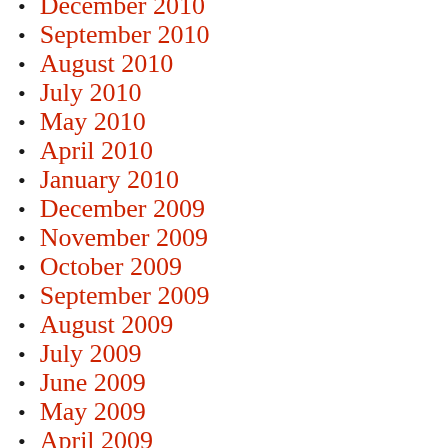December 2010
September 2010
August 2010
July 2010
May 2010
April 2010
January 2010
December 2009
November 2009
October 2009
September 2009
August 2009
July 2009
June 2009
May 2009
April 2009